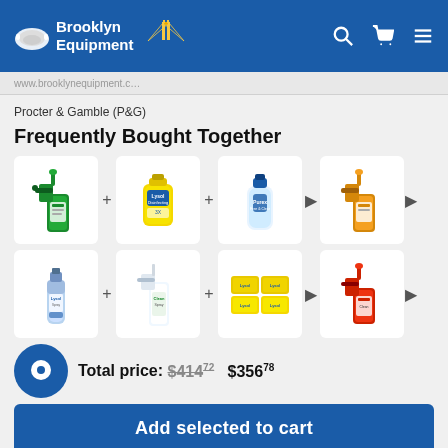[Figure (logo): Brooklyn Equipment logo with mask icon and bridge graphic on blue header]
Brooklyn Equipment
Procter & Gamble (P&G)
Frequently Bought Together
[Figure (photo): Row of 4 cleaning product images: green spray bottle, Lysol wipes canister, Purex liquid detergent bottle, yellow spray bottle]
[Figure (photo): Row of 4 cleaning product images: aerosol spray can, white spray bottle, yellow wet wipes packages, red spray bottle]
Total price: $414.72  $356.78
Add selected to cart